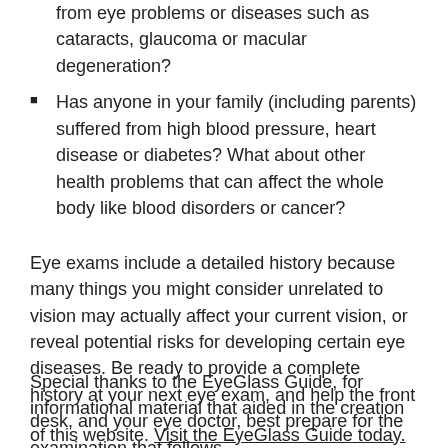from eye problems or diseases such as cataracts, glaucoma or macular degeneration?
Has anyone in your family (including parents) suffered from high blood pressure, heart disease or diabetes? What about other health problems that can affect the whole body like blood disorders or cancer?
Eye exams include a detailed history because many things you might consider unrelated to vision may actually affect your current vision, or reveal potential risks for developing certain eye diseases. Be ready to provide a complete history at your next eye exam, and help the front desk, and your eye doctor, best prepare for the examination that follows.
Special thanks to the EyeGlass Guide, for informational material that aided in the creation of this website. Visit the EyeGlass Guide today.